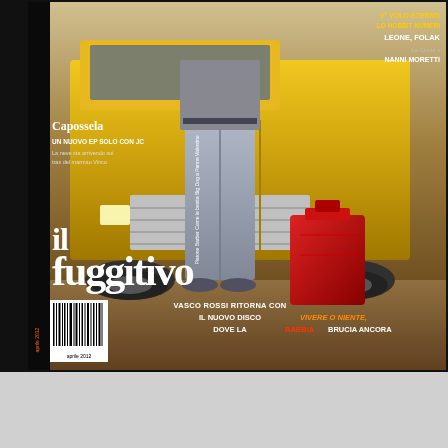[Figure (photo): Magazine cover of 'il fuggitivo' featuring a person standing in front of a yellow truck holding a red jerry can. The cover includes text about Vasco Rossi's new album, a Capossela article, and other editorial content.]
Capossela UN NUOVO EP SOLO CON JC La neve sta arrivendo sui trax del marmao Vinco
il fuggitivo
VASCO ROSSI RITORNA CON IL NUOVO DISCO VIVERE O NIENTE, DOVE LA RABBIA BRUCIA ANCORA